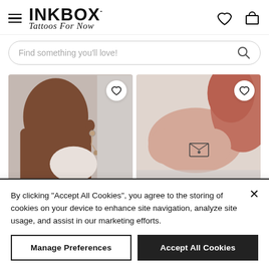[Figure (logo): Inkbox logo with 'INKBOX' in bold black text and 'Tattoos For Now' in cursive below]
[Figure (screenshot): Website header with hamburger menu, Inkbox logo, heart icon, and cart icon]
Find something you'll love!
[Figure (photo): Two product photos: left shows a person wearing earrings, right shows a person with a small tattoo on their arm. Each has a heart/wishlist button overlay.]
By clicking "Accept All Cookies", you agree to the storing of cookies on your device to enhance site navigation, analyze site usage, and assist in our marketing efforts.
Manage Preferences
Accept All Cookies